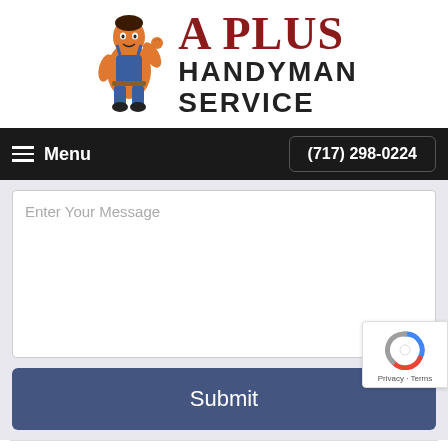[Figure (logo): A Plus Handyman Service logo with cartoon handyman character and red/black text]
Menu  (717) 298-0224
Enter Your Message
Submit
[Figure (other): Google reCAPTCHA badge with Privacy and Terms text]
Credit Cards Accepted